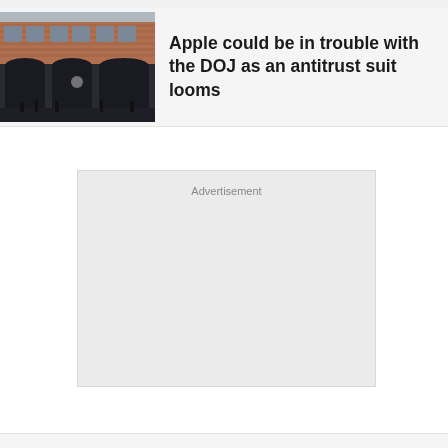[Figure (photo): Exterior photo of a brick building with large arched windows and an Apple store sign, pedestrians on the street]
Apple could be in trouble with the DOJ as an antitrust suit looms
Advertisement